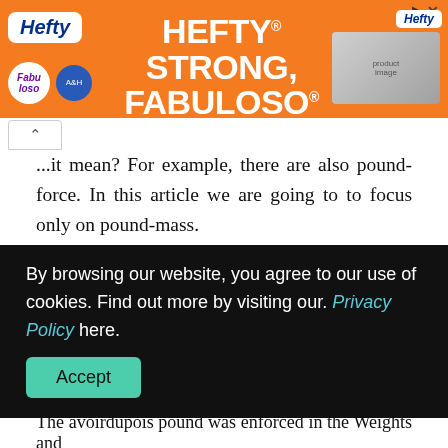[Figure (illustration): Hefty brand advertisement banner with orange background. Shows Hefty logo, Fabuloso logo, Arm & Hammer logo, with text 'HEFTY STRONG, FABULOSO FRESH' and product image on right. Has close/X button in top right.]
...it mean? For example, there are also pound-force. In this article we are going to to focus only on pound-mass.
The pound is used in the British and United States customary systems of measurements. Of course, this unit is used also in other systems. The symbol of the pound is lb or ".
The international avoirdupois pound has no descriptive
By browsing our website, you agree to our use of cookies. Find out more by visiting our. Privacy Policy here.
The avoirdupois pound was enforced in the Weights and